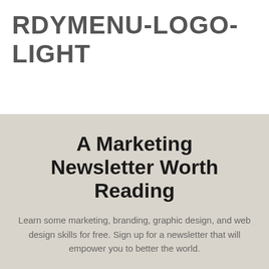[Figure (logo): Logo placeholder text reading RDYMENU-LOGO-LIGHT in bold grey uppercase letters]
A Marketing Newsletter Worth Reading
Learn some marketing, branding, graphic design, and web design skills for free. Sign up for a newsletter that will empower you to better the world.